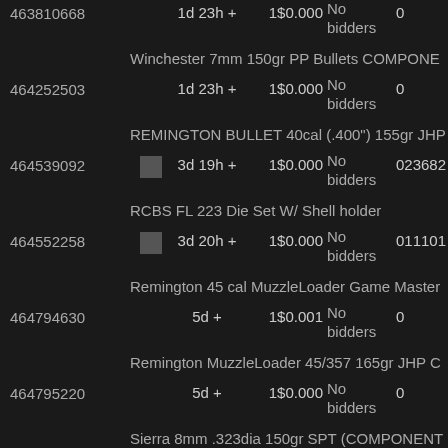| ID | Time | Qty/Price | Bids | Extra | Title |
| --- | --- | --- | --- | --- | --- |
| 463810668 | 1d 23h + | 1 $0.000 | No bidders | 0 | Winchester 7mm 150gr PP Bullets COMPONE... |
| 464252503 | 1d 23h + | 1 $0.000 | No bidders | 0 | REMINGTON BULLET 40cal (.400") 155gr JHP... |
| 464539092 | 3d 19h + | 1 $0.000 | No bidders | 023682 | RCBS FL 223 Die Set W/ Shell holder |
| 464552258 | 3d 20h + | 1 $0.000 | No bidders | 011101 | Remington 45 cal MuzzleLoader Game Master... |
| 464794630 | 5d + | 1 $0.001 | No bidders | 0 | Remington MuzzleLoader 45/357 165gr JHP C... |
| 464795220 | 5d + | 1 $0.000 | No bidders | 0 | Sierra 8mm .323dia 150gr SPT (COMPONENT... |
| 464397321 | 5d 20h + | 1 $0.000 | No bidders | 0 | Double Badger Over/Under 22LR/410 NEW $3... |